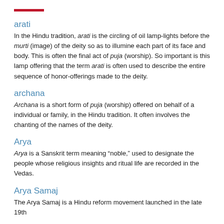arati
In the Hindu tradition, arati is the circling of oil lamp-lights before the murti (image) of the deity so as to illumine each part of its face and body. This is often the final act of puja (worship). So important is this lamp offering that the term arati is often used to describe the entire sequence of honor-offerings made to the deity.
archana
Archana is a short form of puja (worship) offered on behalf of a individual or family, in the Hindu tradition. It often involves the chanting of the names of the deity.
Arya
Arya is a Sanskrit term meaning “noble,” used to designate the people whose religious insights and ritual life are recorded in the Vedas.
Arya Samaj
The Arya Samaj is a Hindu reform movement launched in the late 19th